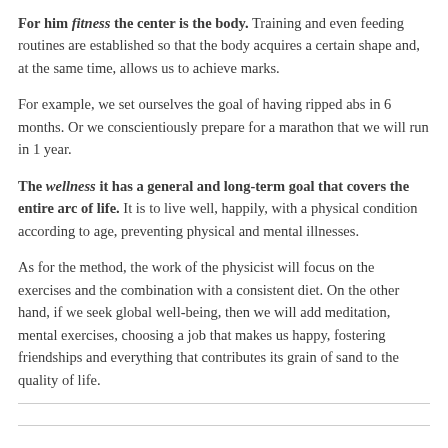For him fitness the center is the body. Training and even feeding routines are established so that the body acquires a certain shape and, at the same time, allows us to achieve marks.
For example, we set ourselves the goal of having ripped abs in 6 months. Or we conscientiously prepare for a marathon that we will run in 1 year.
The wellness it has a general and long-term goal that covers the entire arc of life. It is to live well, happily, with a physical condition according to age, preventing physical and mental illnesses.
As for the method, the work of the physicist will focus on the exercises and the combination with a consistent diet. On the other hand, if we seek global well-being, then we will add meditation, mental exercises, choosing a job that makes us happy, fostering friendships and everything that contributes its grain of sand to the quality of life.